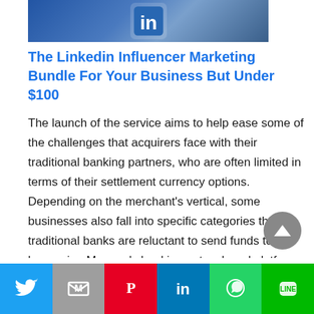[Figure (photo): Partial photo showing a LinkedIn logo sign being held, dark blue background]
The Linkedin Influencer Marketing Bundle For Your Business But Under $100
The launch of the service aims to help ease some of the challenges that acquirers face with their traditional banking partners, who are often limited in terms of their settlement currency options. Depending on the merchant’s vertical, some businesses also fall into specific categories that traditional banks are reluctant to send funds to. By leveraging Monneo’s banking network and platform, acquirers and PSPs have greater flexibility when it comes to which merchants they
[Figure (other): Scroll-to-top circular button with up arrow]
Twitter | Mail | Pinterest | LinkedIn | WhatsApp | LINE share buttons